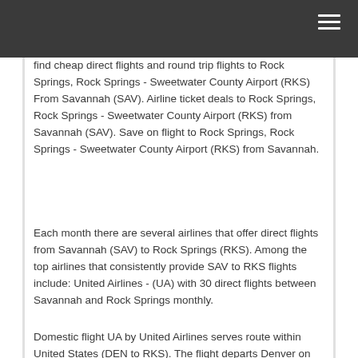find cheap direct flights and round trip flights to Rock Springs, Rock Springs - Sweetwater County Airport (RKS) From Savannah (SAV). Airline ticket deals to Rock Springs, Rock Springs - Sweetwater County Airport (RKS) from Savannah (SAV). Save on flight to Rock Springs, Rock Springs - Sweetwater County Airport (RKS) from Savannah.
Each month there are several airlines that offer direct flights from Savannah (SAV) to Rock Springs (RKS). Among the top airlines that consistently provide SAV to RKS flights include: United Airlines - (UA) with 30 direct flights between Savannah and Rock Springs monthly.
Domestic flight UA by United Airlines serves route within United States (DEN to RKS). The flight departs Denver on June 10 (.pm) and arrives Rock Springs